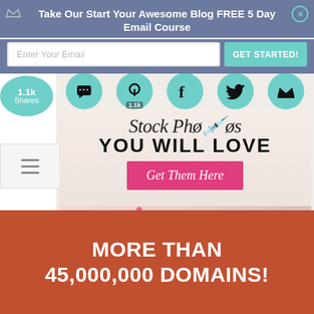Take Our Start Your Awesome Blog FREE 5 Day Email Course
Enter Your Email
GET STARTED!
1.1k Shares
[Figure (infographic): Stock Photos YOU WILL LOVE - Get Them Here banner with social media icons (SMS, Pinterest 1.1k, Facebook, Twitter, Crown) overlaying styled text and pink notebook/pen/coffee flat lay]
MORE THAN 45,000,000 DOMAINS!